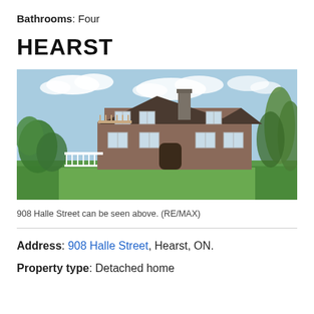Bathrooms: Four
HEARST
[Figure (photo): Exterior rear view of a two-storey detached home at 908 Halle Street, Hearst ON. The large brown brick house has a chimney, multiple windows, a deck with white railing, surrounded by green lawn and trees under a partly cloudy blue sky.]
908 Halle Street can be seen above. (RE/MAX)
Address: 908 Halle Street, Hearst, ON.
Property type: Detached home